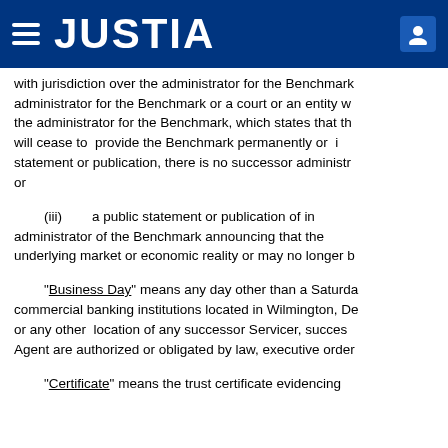JUSTIA
with jurisdiction over the administrator for the Benchmark administrator for the Benchmark or a court or an entity with the administrator for the Benchmark, which states that the will cease to provide the Benchmark permanently or in statement or publication, there is no successor administrator or
(iii) a public statement or publication of information by the administrator of the Benchmark announcing that the underlying market or economic reality or may no longer be
“Business Day” means any day other than a Saturday, commercial banking institutions located in Wilmington, Delaware or any other location of any successor Servicer, successor Agent are authorized or obligated by law, executive order or
“Certificate” means the trust certificate evidencing